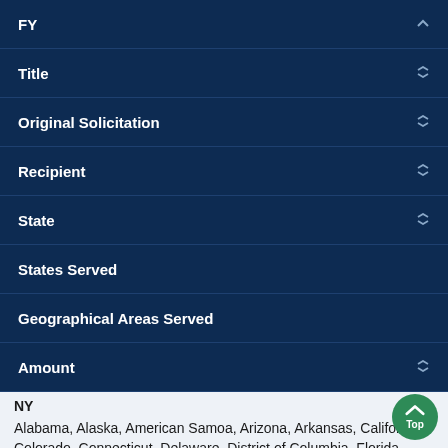FY
Title
Original Solicitation
Recipient
State
States Served
Geographical Areas Served
Amount
NY
Alabama, Alaska, American Samoa, Arizona, Arkansas, California, Colorado, Connecticut, Delaware, District of Columbia, Florida, Georgia,